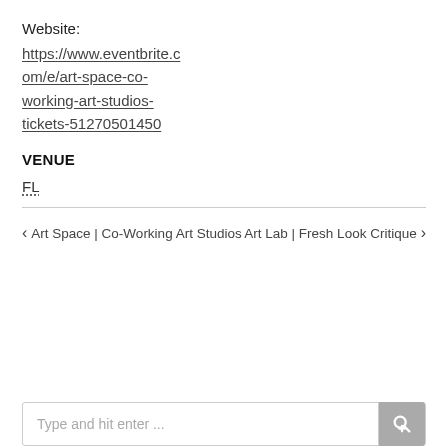Website:
https://www.eventbrite.com/e/art-space-co-working-art-studios-tickets-51270501450
VENUE
FL
‹ Art Space | Co-Working Art Studios    Art Lab | Fresh Look Critique ›
Type and hit enter ...